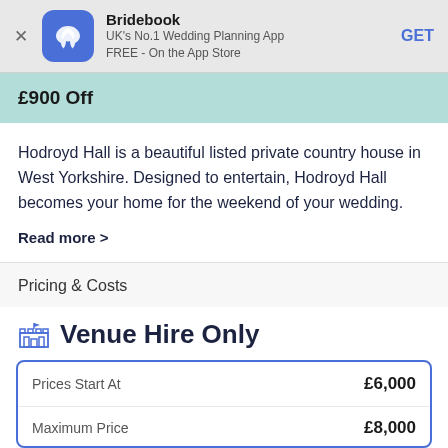[Figure (logo): Bridebook app banner with blue rounded square logo containing a heart shape, app name Bridebook, tagline UK's No.1 Wedding Planning App FREE - On the App Store, and GET button]
£900 Off
Hodroyd Hall is a beautiful listed private country house in West Yorkshire.  Designed to entertain, Hodroyd Hall becomes your home for the weekend of your wedding.
Read more >
Pricing & Costs
Venue Hire Only
| Prices Start At | £6,000 |
| --- | --- |
| Maximum Price | £8,000 |